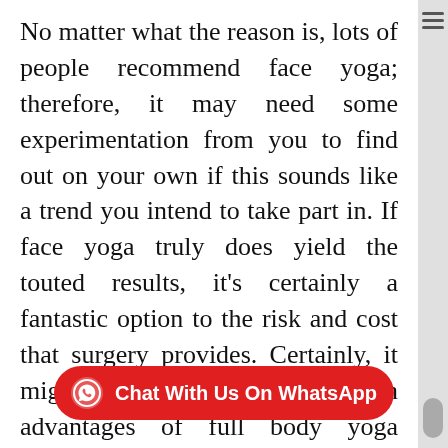No matter what the reason is, lots of people recommend face yoga; therefore, it may need some experimentation from you to find out on your own if this sounds like a trend you intend to take part in. If face yoga truly does yield the touted results, it's certainly a fantastic option to the risk and cost that surgery provides. Certainly, it might provide the proven advantages of full body yoga including laughs and good-hearted fun.
If you are looking for a fun environment, and at the same time, you will have a great workout, sign up at Dangerously Fit bootcamp.
[Figure (other): Red rounded pill-shaped WhatsApp chat button with WhatsApp logo icon and text 'Chat With Us On WhatsApp']